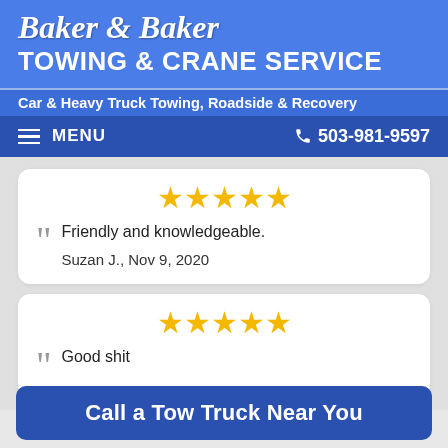Baker & Baker Towing & Crane Service
Car & Heavy Truck Towing, Roadside & Recovery
MENU | 503-981-9597
Friendly and knowledgeable. Suzan J., Nov 9, 2020
Good shit